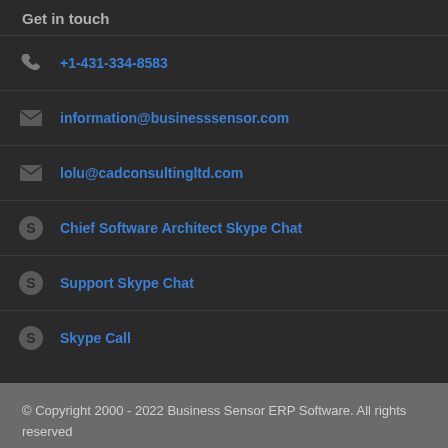Get in touch
+1-431-334-8583
information@businesssensor.com
lolu@cadconsultingltd.com
Chief Software Architect Skype Chat
Support Skype Chat
Skype Call
© Copyright 2000 - 2022 Business Sensor ERP Software. All rights reserved
Home  About Us  ContactUs  EULA  Terms and Condition